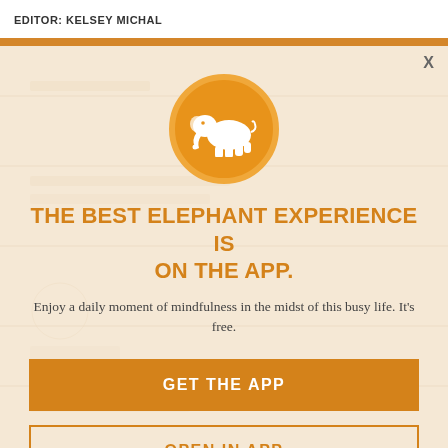EDITOR: KELSEY MICHAL
[Figure (logo): Orange circle with white elephant silhouette logo for Elephant Journal / Elephant app]
THE BEST ELEPHANT EXPERIENCE IS ON THE APP.
Enjoy a daily moment of mindfulness in the midst of this busy life. It's free.
GET THE APP
OPEN IN APP